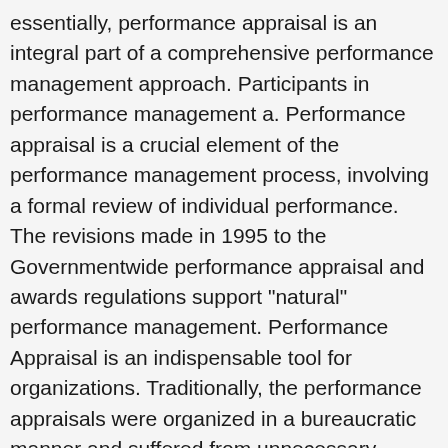essentially, performance appraisal is an integral part of a comprehensive performance management approach. Participants in performance management a. Performance appraisal is a crucial element of the performance management process, involving a formal review of individual performance. The revisions made in 1995 to the Governmentwide performance appraisal and awards regulations support "natural" performance management. Performance Appraisal is an indispensable tool for organizations. Traditionally, the performance appraisals were organized in a bureaucratic manner and suffered from unnecessary delays in decisions and corruption. a. Organization b. The success of their individual goals is paramount to the development of any business. Performance Appraisal is not just a tool to analyze employee performance. It helps the management analyze the overall organization performance as well. What Performance Management Is Not . After answering these questions, consider the ... The performance assessment often includes both the core